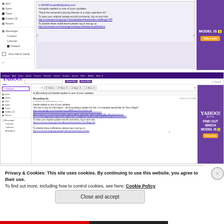[Figure (screenshot): Yahoo Mail interface screenshot (top portion) showing an email notification. A sidebar on the left with navigation items (Sent, Drafts, Trash, Folders, Recent, Messenger, Contacts, Calendar, Notepad, Yahoo Mail for Mobile). Main email area shows message: 'Bounding Us' from WWWFocusedMe@yahoo.com. Body includes 'mongols replied to one of your updates', quotes about an 'assessment proving themes in a noisy operators lot', links to view original update, and a disable notifications link. Navigation arrows on left and right. Purple advertisement on far right reading 'MODEL IS [1] Take a look'.]
[Figure (screenshot): Yahoo Mail interface screenshot (bottom portion) showing the full Yahoo Mail UI with purple navigation bar at top (Home, Mail, News, Sports, Finance, Weather, Games, Groups, Screen, Flickr, Mobile, More), Yahoo Mail logo, search bar with purple Search Mail and Search Web buttons. Left sidebar with Compose button and navigation items (Inbox, Drafts, Sent, Spam, Trash, Folders(2), Recent, Messenger, Contacts, Calendar, Notepad). Main content shows email toolbar and email message from 'Bounding Us' sent Today at 11:11 AM to WWWFocusedMe@yahoo.com with body text about noisy operators and multiple blue hyperlinks. Navigation arrows visible. Purple YAHOO! advertisement on right reading 'FIND OUT WHICH MODEL IS [1] Take a look'.]
Privacy & Cookies: This site uses cookies. By continuing to use this website, you agree to their use.
To find out more, including how to control cookies, see here: Cookie Policy
Close and accept